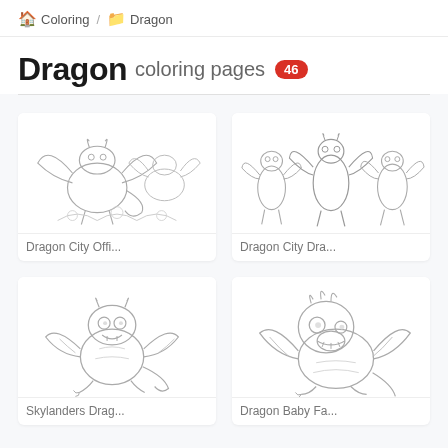🏠 Coloring / 📁 Dragon
Dragon coloring pages 46
[Figure (illustration): Dragon City Offi... - coloring page thumbnail showing multiple cartoon dragons clustered together, line art style]
Dragon City Offi...
[Figure (illustration): Dragon City Dra... - coloring page thumbnail showing three dragons standing upright, line art style]
Dragon City Dra...
[Figure (illustration): Skylanders Drag... - coloring page thumbnail showing a small cartoon dragon with wings, line art style]
Skylanders Drag...
[Figure (illustration): Dragon Baby Fa... - coloring page thumbnail showing a round baby dragon with wings, line art style]
Dragon Baby Fa...